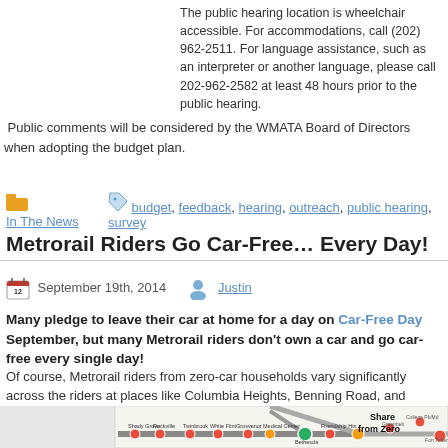The public hearing location is wheelchair accessible. For accommodations, call (202) 962-2511. For language assistance, such as an interpreter or documents in another language, please call 202-962-2582 at least 48 hours prior to the public hearing.
Public comments will be considered by the WMATA Board of Directors when adopting the budget plan.
In The News   budget, feedback, hearing, outreach, public hearing, survey
Metrorail Riders Go Car-Free… Every Day!
September 19th, 2014   Justin
Many pledge to leave their car at home for a day on Car-Free Day September, but many Metrorail riders don't own a car and go car-free every single day!
Of course, Metrorail riders from zero-car households vary significantly across the system – from many riders at places like Columbia Heights, Benning Road, and Dupont Circle – to less at suburban areas like Rockville, East Falls Church, or Franconia-Springfield.  The diagram below shows riders who live in a zero-car household, by station:
[Figure (map): Metro rail system map showing share of riders from zero-car households by station, with colored dots indicating different percentages at various stations along the lines including Shady Grove, Rockville, Twinbrook, White Flint, Grosvenor-Strathmore, Medical Center, Bethesda, Friendship Heights and others. Orange and yellow circles indicate higher shares, red circles indicate lower shares. Text reads 'Share of Riders from Zero-Car Households']